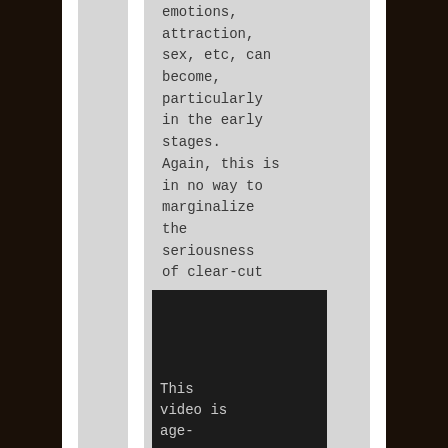emotions, attraction, sex, etc, can become, particularly in the early stages. Again, this is in no way to marginalize the seriousness of clear-cut rape-assault...
[Figure (screenshot): Dark video thumbnail with text 'This video is age-' visible at the bottom]